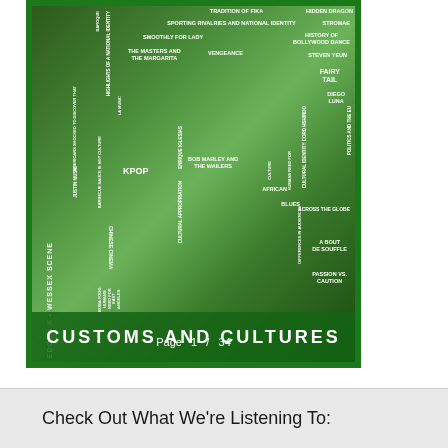[Figure (illustration): Book cover titled 'Customs and Cultures' showing K-pop group BTS members with various cultural topic labels overlaid on a green background. Topics include: Tradition of fika, Hidden Dragon, Sporting rivalries and national identity, Stromae, Smoothly for Lady, History of Bollywood dance, The masters and the margarita, Vengeance, Steven Yeun, Fairy tail, Diego Luna, Bob Marley and the Wailers, Across the globe, About de souffle, Cultural appropriation, Passion vs Caution, Blues, African, KPOP, Chinese cinema, Latin music, Justin music, Barbecue sauce is not culture. The spine reads 'Edge x Wessex Scene'. Page 1 / 34 label appears at bottom.]
Check Out What We're Listening To: